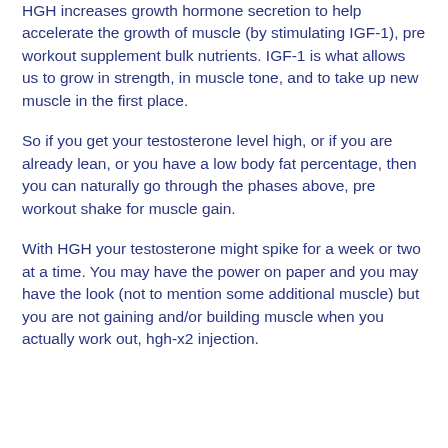HGH increases growth hormone secretion to help accelerate the growth of muscle (by stimulating IGF-1), pre workout supplement bulk nutrients. IGF-1 is what allows us to grow in strength, in muscle tone, and to take up new muscle in the first place.
So if you get your testosterone level high, or if you are already lean, or you have a low body fat percentage, then you can naturally go through the phases above, pre workout shake for muscle gain.
With HGH your testosterone might spike for a week or two at a time. You may have the power on paper and you may have the look (not to mention some additional muscle) but you are not gaining and/or building muscle when you actually work out, hgh-x2 injection.